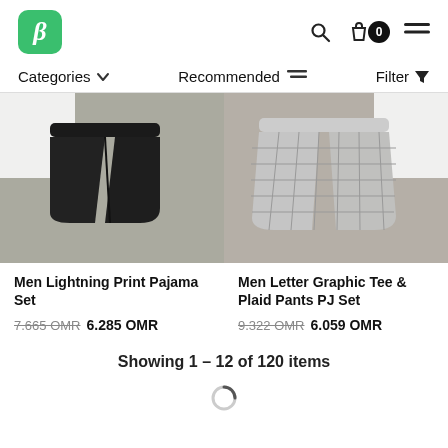β logo, search, cart (0), menu
Categories ∨   Recommended ≡   Filter ▼
[Figure (photo): Black shorts on grey background with white fabric, product photo for Men Lightning Print Pajama Set]
[Figure (photo): Grey plaid shorts on grey background with white fabric, product photo for Men Letter Graphic Tee & Plaid Pants PJ Set]
Men Lightning Print Pajama Set
7.665 OMR 6.285 OMR
Men Letter Graphic Tee & Plaid Pants PJ Set
9.322 OMR 6.059 OMR
Showing 1 – 12 of 120 items